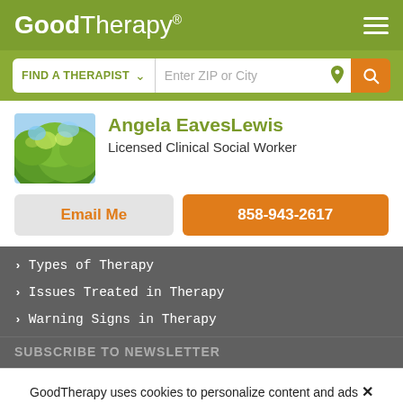GoodTherapy®
FIND A THERAPIST ∨  Enter ZIP or City
Angela EavesLewis
Licensed Clinical Social Worker
Email Me
858-943-2617
› Types of Therapy
› Issues Treated in Therapy
› Warning Signs in Therapy
SUBSCRIBE TO NEWSLETTER
GoodTherapy uses cookies to personalize content and ads to provide better services for our users and to analyze our traffic. By continuing to use this site you consent to our cookies.